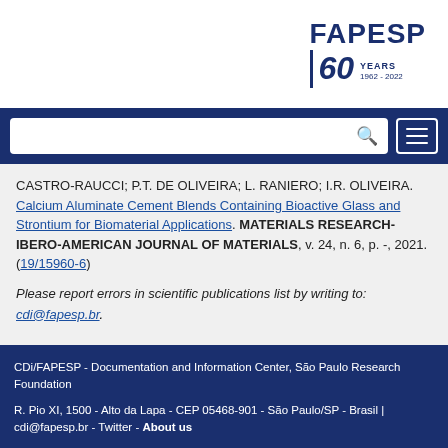[Figure (logo): FAPESP 60 Years logo, 1962-2022]
CASTRO-RAUCCI; P.T. DE OLIVEIRA; L. RANIERO; I.R. OLIVEIRA. Calcium Aluminate Cement Blends Containing Bioactive Glass and Strontium for Biomaterial Applications. MATERIALS RESEARCH-IBERO-AMERICAN JOURNAL OF MATERIALS, v. 24, n. 6, p. -, 2021. (19/15960-6)
Please report errors in scientific publications list by writing to: cdi@fapesp.br.
CDi/FAPESP - Documentation and Information Center, São Paulo Research Foundation
R. Pio XI, 1500 - Alto da Lapa - CEP 05468-901 - São Paulo/SP - Brasil | cdi@fapesp.br - Twitter - About us